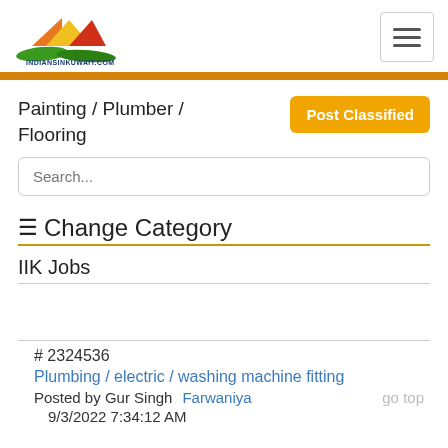INDIANSINKUWAIT.COM
Painting / Plumber / Flooring
Post Classified
Search...
≡ Change Category
IIK Jobs
# 2324536
Plumbing / electric / washing machine fitting
Posted by Gur Singh   Farwaniya
9/3/2022 7:34:12 AM
go top